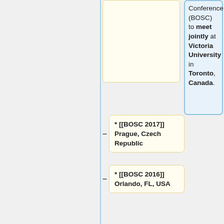Conference (BOSC) to meet jointly at Victoria University in Toronto, Canada.
* [[BOSC 2017]] Prague, Czech Republic
* [[BOSC 2016]] Orlando, FL, USA
* [[BOSC 2015]] Dublin, Ireland
* [[BOSC 2014]] Boston, MA USA
* [[BOSC 2013]] Berlin, Germany